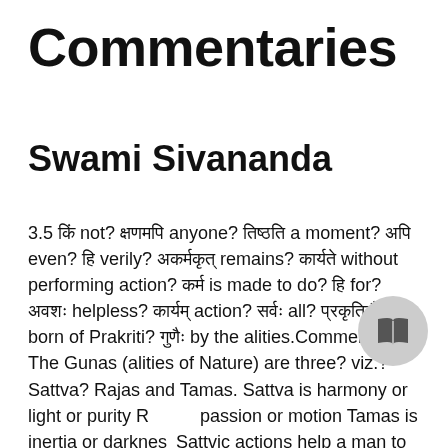Commentaries
Swami Sivananda
3.5 किं not? क्षणमपि anyone? तिष्ठति a moment? अपि even? हि verily? अकर्मकृत् remains? कार्यते without performing action? कर्म is made to do? हि for? अवशः helpless? कार्यम् action? सर्वः all? प्रकृतिजैः born of Prakriti? गुणैः by the alities.Commentary The Gunas (alities of Nature) are three? viz.? Sattva? Rajas and Tamas. Sattva is harmony or light or purity Rajas passion or motion Tamas is inertia or darkness. Sattvic actions help a man to attain to Moksha. Rajasic and Tamasic actions bind a man to